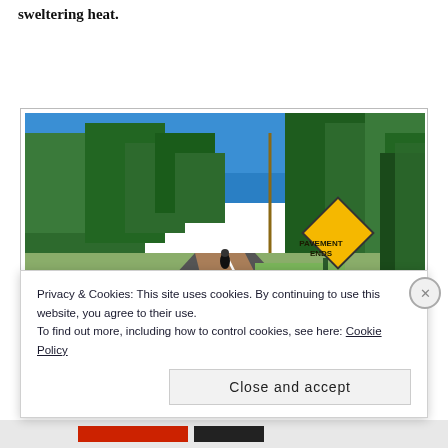sweltering heat.
[Figure (photo): A cyclist riding on a road that transitions from paved to dirt/gravel, with dense green trees on both sides under a blue sky. A yellow diamond-shaped 'PAVEMENT ENDS' warning sign is visible on the right side of the road.]
Privacy & Cookies: This site uses cookies. By continuing to use this website, you agree to their use.
To find out more, including how to control cookies, see here: Cookie Policy
Close and accept